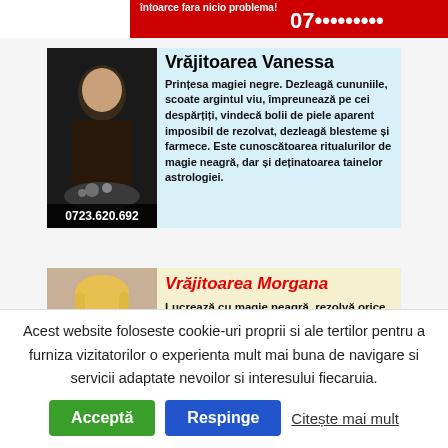[Figure (illustration): Partial top ad strip showing text 'întoarce fara nicio problema!' and a red phone number partially visible]
[Figure (illustration): Advertisement for Vrăjitoarea Vanessa - Princess of black magic. Light blue background with photo of dark-haired woman with mystical objects. Text: Prințesa magiei negre. Dezleagă cununiile, scoate argintul viu, împreunează pe cei despărțiți, vindecă bolii de piele aparent imposibil de rezolvat, dezleagă blesteme și farmece. Este cunoscătoarea ritualurilor de magie neagră, dar și deținatoarea tainelor astrologiei. Phone: 0723.620.692]
[Figure (illustration): Advertisement for Vrăjitoarea Morgana - Works with black magic, solves any kind of problem. Yellowish background with photo of blonde woman.]
Acest website foloseste cookie-uri proprii si ale tertilor pentru a furniza vizitatorilor o experienta mult mai buna de navigare si servicii adaptate nevoilor si interesului fiecaruia.
Acceptă | Respinge | Citește mai mult